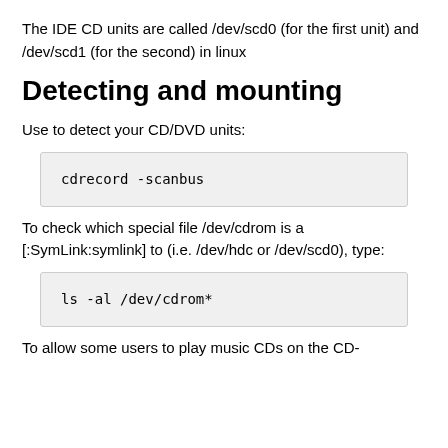The IDE CD units are called /dev/scd0 (for the first unit) and /dev/scd1 (for the second) in linux
Detecting and mounting
Use to detect your CD/DVD units:
cdrecord -scanbus
To check which special file /dev/cdrom is a [:SymLink:symlink] to (i.e. /dev/hdc or /dev/scd0), type:
ls -al /dev/cdrom*
To allow some users to play music CDs on the CD-